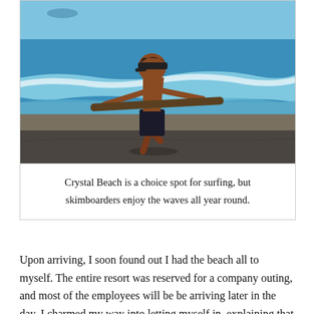[Figure (photo): A boy running along a dark sandy beach near the shoreline, holding a skimboard horizontally. Blue ocean with breaking waves in the background, blue sky visible.]
Crystal Beach is a choice spot for surfing, but skimboarders enjoy the waves all year round.
Upon arriving, I soon found out I had the beach all to myself. The entire resort was reserved for a company outing, and most of the employees will be be arriving later in the day. I charmed my way into letting myself in, explaining that I won't be spending the night there. After a satisfying lunch of tuna steak, I hit the